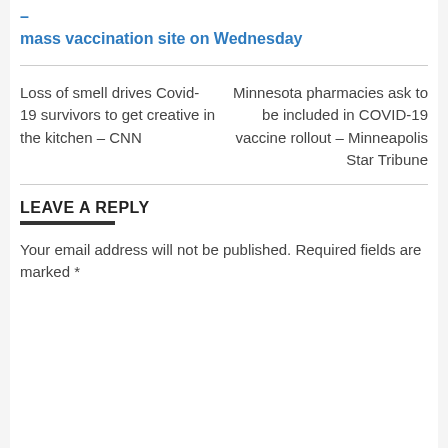– mass vaccination site on Wednesday
Loss of smell drives Covid-19 survivors to get creative in the kitchen – CNN
Minnesota pharmacies ask to be included in COVID-19 vaccine rollout – Minneapolis Star Tribune
LEAVE A REPLY
Your email address will not be published. Required fields are marked *